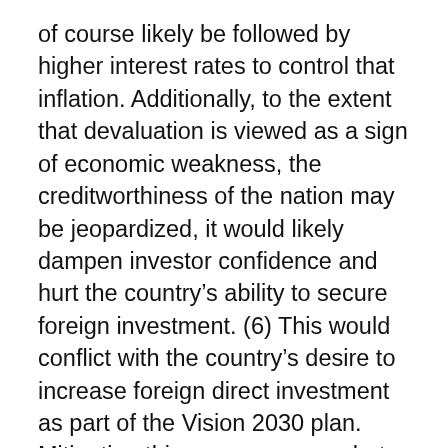of course likely be followed by higher interest rates to control that inflation. Additionally, to the extent that devaluation is viewed as a sign of economic weakness, the creditworthiness of the nation may be jeopardized, it would likely dampen investor confidence and hurt the country’s ability to secure foreign investment. (6) This would conflict with the country’s desire to increase foreign direct investment as part of the Vision 2030 plan. Mitigating this concern somewhat, is that the Saudis could reduce the need to implement unpopular fiscal spending policies (like cutting Vision 2030